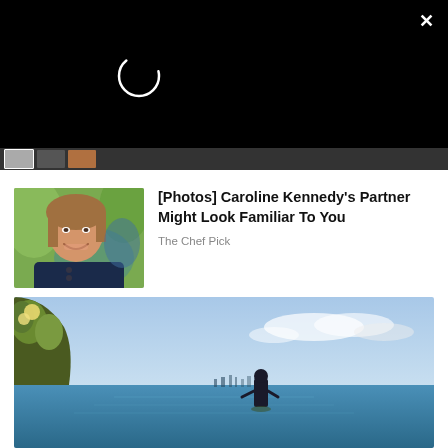[Figure (screenshot): Black overlay panel with a white spinner/loading circle in the upper left area, and a white X close button in the top right corner]
[Figure (photo): Thumbnail image of a smiling woman with brown hair outdoors]
[Photos] Caroline Kennedy's Partner Might Look Familiar To You
The Chef Pick
[Figure (photo): Wide landscape photo of a man standing on a cliff edge overlooking a large body of water with a city skyline in the distance under a blue sky]